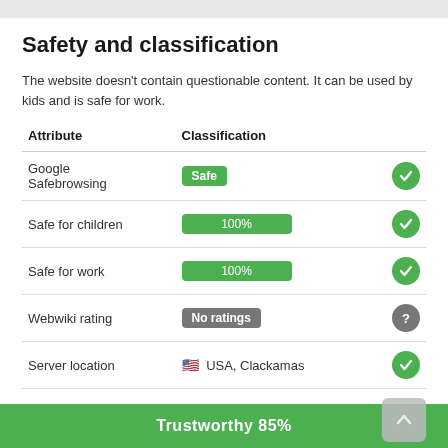Safety and classification
The website doesn't contain questionable content. It can be used by kids and is safe for work.
| Attribute | Classification |  |
| --- | --- | --- |
| Google Safebrowsing | Safe | ✓ |
| Safe for children | 100% | ✓ |
| Safe for work | 100% | ✓ |
| Webwiki rating | No ratings | ? |
| Server location | 🇺🇸 USA, Clackamas | ✓ |
Trustworthy 85%